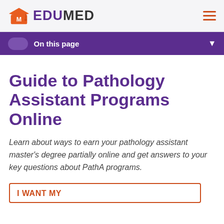[Figure (logo): EduMed logo with orange graduation cap icon and purple/dark EDUMED wordmark]
On this page
Guide to Pathology Assistant Programs Online
Learn about ways to earn your pathology assistant master's degree partially online and get answers to your key questions about PathA programs.
I WANT MY